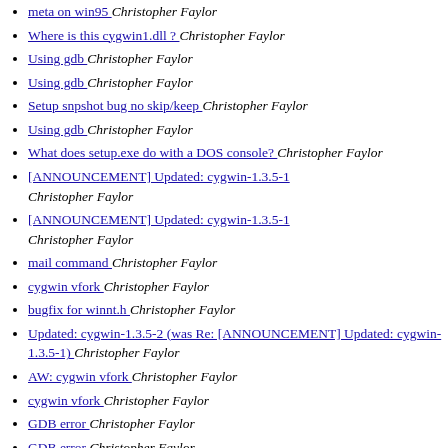meta on win95  Christopher Faylor
Where is this cygwin1.dll ?  Christopher Faylor
Using gdb  Christopher Faylor
Using gdb  Christopher Faylor
Setup snpshot bug no skip/keep  Christopher Faylor
Using gdb  Christopher Faylor
What does setup.exe do with a DOS console?  Christopher Faylor
[ANNOUNCEMENT] Updated: cygwin-1.3.5-1  Christopher Faylor
[ANNOUNCEMENT] Updated: cygwin-1.3.5-1  Christopher Faylor
mail command  Christopher Faylor
cygwin vfork  Christopher Faylor
bugfix for winnt.h  Christopher Faylor
Updated: cygwin-1.3.5-2 (was Re: [ANNOUNCEMENT] Updated: cygwin-1.3.5-1)  Christopher Faylor
AW: cygwin vfork  Christopher Faylor
cygwin vfork  Christopher Faylor
GDB error  Christopher Faylor
GDB error  Christopher Faylor
GDB error  Christopher Faylor
[ANNOUNCEMENT] Updated: groff-1.17.1  Christopher Faylor
new site for my ports is up  Christopher Faylor
It's official -- package moratorium lifted  Christopher